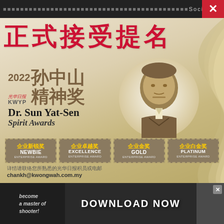Society of St Maur
[Figure (illustration): 2022 KWYP Dr. Sun Yat-Sen Spirit Awards promotional advertisement. Features large Chinese text '正式接受提名' (Officially Accepting Nominations), the award logo with year 2022, Chinese characters '孙中山精神奖', 光华日报 KWYP branding, a golden portrait illustration of Dr. Sun Yat-Sen, four award category stamps: 企业新锐奖 NEWBIE ENTERPRISE AWARD, 企业卓越奖 EXCELLENCE ENTERPRISE AWARD, 企业金奖 GOLD ENTERPRISE AWARD, 企业白金奖 PLATINUM ENTERPRISE AWARD, and contact info chankh@kwongwah.com.my]
详情请联络您所熟悉的光华日报积员或电邮 chankh@kwongwah.com.my
[Figure (screenshot): Bottom advertisement banner with text 'become a master of shooter!' and 'DOWNLOAD NOW' button]